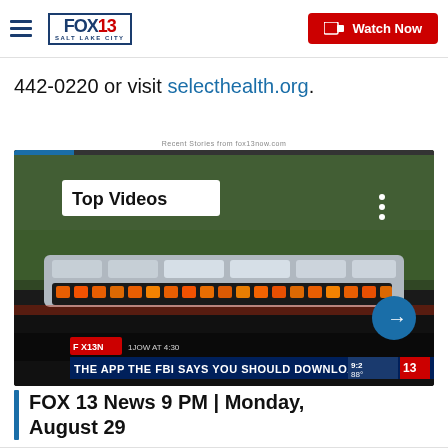FOX 13 SALT LAKE CITY — Watch Now
442-0220 or visit selecthealth.org.
Recent Stories from fox13now.com
[Figure (screenshot): Video thumbnail showing police/emergency lights with overlay text 'Top Videos' and lower banner 'THE APP THE FBI SAYS YOU SHOULD DOWNLOAD' and FOX 13 branding]
FOX 13 News 9 PM | Monday, August 29